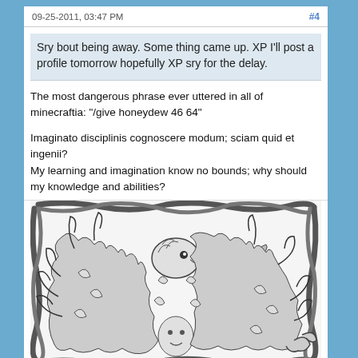09-25-2011, 03:47 PM  #4
Sry bout being away. Some thing came up. XP I'll post a profile tomorrow hopefully XP sry for the delay.
The most dangerous phrase ever uttered in all of minecraftia: "/give honeydew 46 64"
Imaginato disciplinis cognoscere modum; sciam quid et ingenii? My learning and imagination know no bounds; why should my knowledge and abilities?
[Figure (illustration): Black and white pencil drawing of a phoenix or large bird with spread wings composed of flames, with an eagle head above a human figure. The image is framed by a braided rope border.]